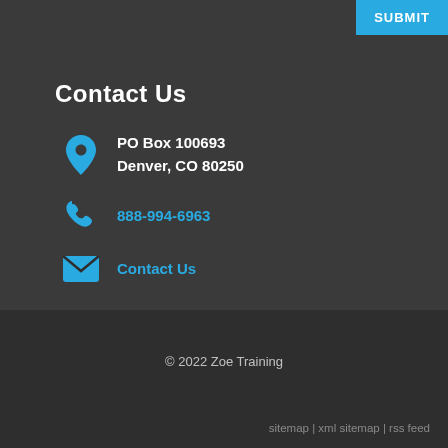SUBMIT
Contact Us
PO Box 100693
Denver, CO 80250
888-994-6963
Contact Us
© 2022 Zoe Training
sitemap | xml sitemap | rss feed